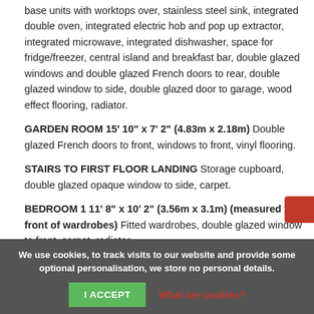base units with worktops over, stainless steel sink, integrated double oven, integrated electric hob and pop up extractor, integrated microwave, integrated dishwasher, space for fridge/freezer, central island and breakfast bar, double glazed windows and double glazed French doors to rear, double glazed window to side, double glazed door to garage, wood effect flooring, radiator.
GARDEN ROOM 15' 10" x 7' 2" (4.83m x 2.18m) Double glazed French doors to front, windows to front, vinyl flooring.
STAIRS TO FIRST FLOOR LANDING Storage cupboard, double glazed opaque window to side, carpet.
BEDROOM 1 11' 8" x 10' 2" (3.56m x 3.1m) (measured to front of wardrobes) Fitted wardrobes, double glazed window to front, carpet, radiator.
We use cookies, to track visits to our website and provide some optional personalisation, we store no personal details.
I ACCEPT  What are cookies?